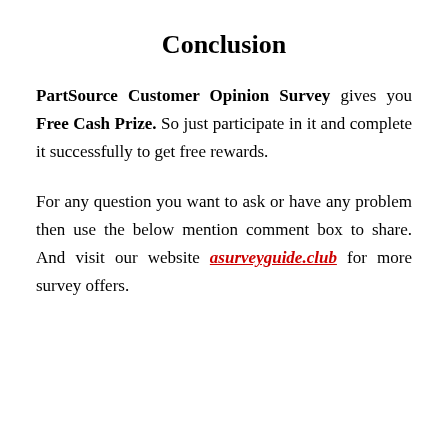Conclusion
PartSource Customer Opinion Survey gives you Free Cash Prize. So just participate in it and complete it successfully to get free rewards.
For any question you want to ask or have any problem then use the below mention comment box to share. And visit our website asurveyguide.club for more survey offers.